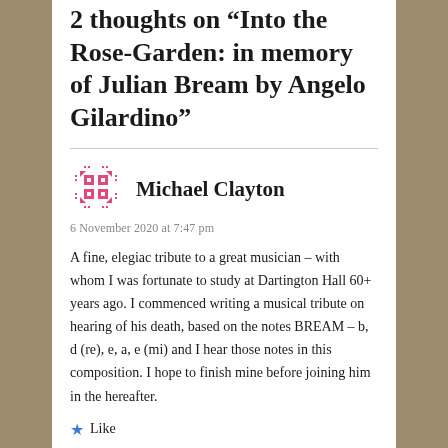2 thoughts on “Into the Rose-Garden: in memory of Julian Bream by Angelo Gilardino”
[Figure (illustration): Pink/red pixel-art avatar icon representing user Michael Clayton]
Michael Clayton
6 November 2020 at 7:47 pm
A fine, elegiac tribute to a great musician – with whom I was fortunate to study at Dartington Hall 60+ years ago. I commenced writing a musical tribute on hearing of his death, based on the notes BREAM – b, d (re), e, a, e (mi) and I hear those notes in this composition. I hope to finish mine before joining him in the hereafter.
Like
Reply